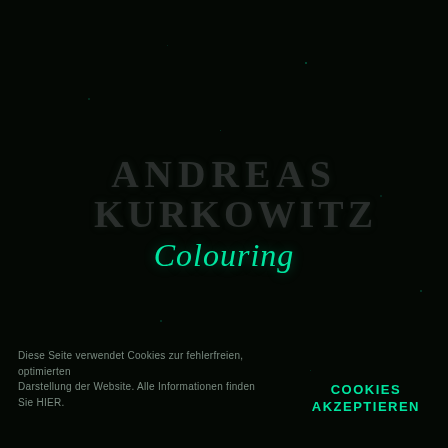ANDREAS KURKOWITZ Colouring
Diese Seite verwendet Cookies zur fehlerfreien, optimierten Darstellung der Website. Alle Informationen finden Sie HIER.
COOKIES AKZEPTIEREN